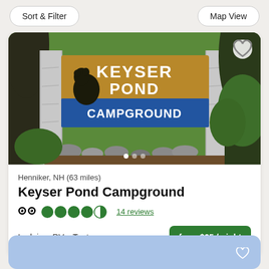Sort & Filter | Map View
[Figure (photo): Entrance sign for Keyser Pond Campground mounted between two stone pillars, surrounded by trees and rocks]
Henniker, NH (63 miles)
Keyser Pond Campground
★★★★☆ 14 reviews
Lodging, RVs, Tents
from $35 / night